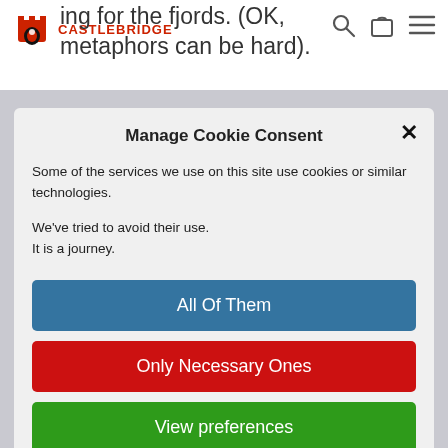ing for the fjords. (OK, metaphors can be hard).
[Figure (logo): Castlebridge logo with red helmet icon and red CASTLEBRIDGE text]
Manage Cookie Consent
Some of the services we use on this site use cookies or similar technologies.
We've tried to avoid their use.
It is a journey.
All Of Them
Only Necessary Ones
View preferences